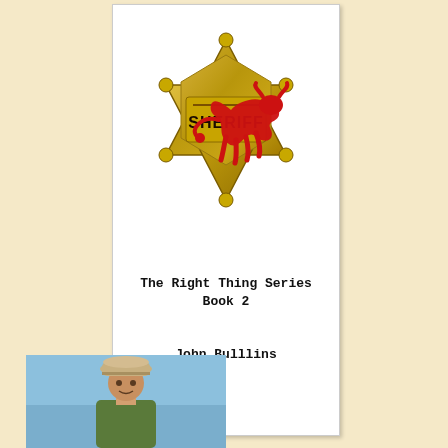[Figure (illustration): Book cover for 'The Right Thing Series Book 2' by John Bulllins. Features a gold sheriff's star badge with the word SHERIFF on it, overlaid with a red silhouette of a running bull/longhorn. White background.]
The Right Thing Series Book 2
John Bulllins
[Figure (photo): Photo of a person wearing a cowboy hat, outdoors with blue sky background.]